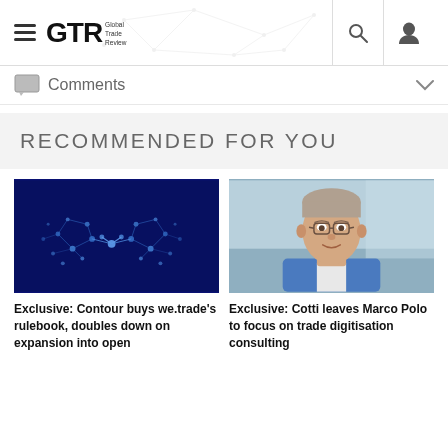GTR Global Trade Review
Comments
RECOMMENDED FOR YOU
[Figure (photo): Digital handshake illustration with glowing blue network nodes on dark navy background]
Exclusive: Contour buys we.trade's rulebook, doubles down on expansion into open
[Figure (photo): Portrait photo of a middle-aged man with glasses wearing a blue blazer, smiling, outdoors background]
Exclusive: Cotti leaves Marco Polo to focus on trade digitisation consulting